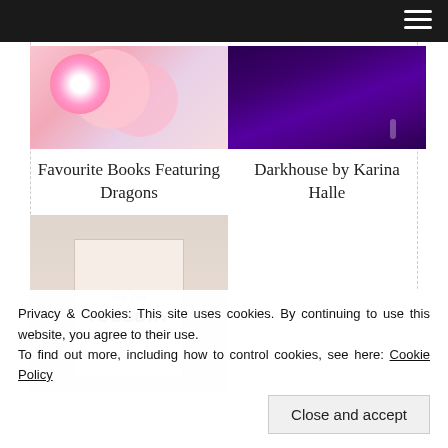[Figure (photo): Book cover with pink and white flowers on light background]
[Figure (photo): Book cover with dark purple background, Darkhouse by Karina Halle]
Favourite Books Featuring Dragons
Darkhouse by Karina Halle
[Figure (photo): Top Ten Tuesday graphic on satin fabric background, showing card with 'Top Ten TUESDAY' text]
Privacy & Cookies: This site uses cookies. By continuing to use this website, you agree to their use.
To find out more, including how to control cookies, see here: Cookie Policy
Close and accept